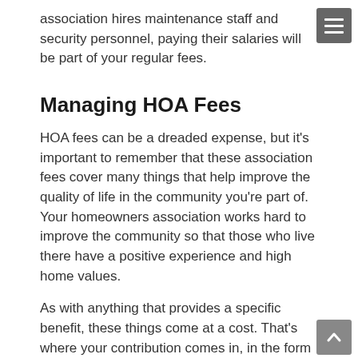association hires maintenance staff and security personnel, paying their salaries will be part of your regular fees.
Managing HOA Fees
HOA fees can be a dreaded expense, but it's important to remember that these association fees cover many things that help improve the quality of life in the community you're part of. Your homeowners association works hard to improve the community so that those who live there have a positive experience and high home values.
As with anything that provides a specific benefit, these things come at a cost. That's where your contribution comes in, in the form of association fees. As stated above, many homeowners associations choose to hire a management company to handle the more complicated